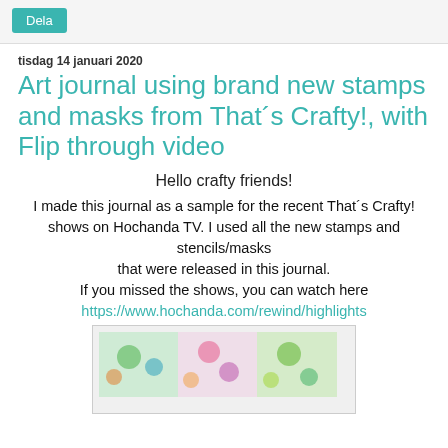Dela
tisdag 14 januari 2020
Art journal using brand new stamps and masks from That´s Crafty!, with Flip through video
Hello crafty friends!
I made this journal as a sample for the recent That´s Crafty! shows on Hochanda TV. I used all the new stamps and stencils/masks that were released in this journal. If you missed the shows, you can watch here https://www.hochanda.com/rewind/highlights
[Figure (photo): Photo of a colorful art journal spread with floral and decorative patterns]